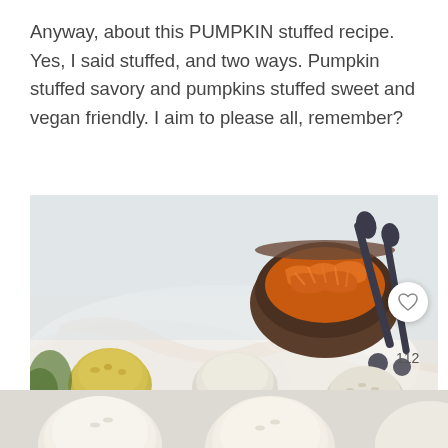Anyway, about this PUMPKIN stuffed recipe. Yes, I said stuffed, and two ways. Pumpkin stuffed savory and pumpkins stuffed sweet and vegan friendly. I aim to please all, remember?
[Figure (photo): Food photo showing stuffed pumpkin balls/dumplings on a white cloth with a dark bowl containing shredded orange filling (pumpkin) and dark decorative spoons in the background. Number 112 and a heart/like button visible in lower right corner.]
[Figure (photo): Partial view of more white/cream stuffed pumpkin balls at the bottom of the page, cut off.]